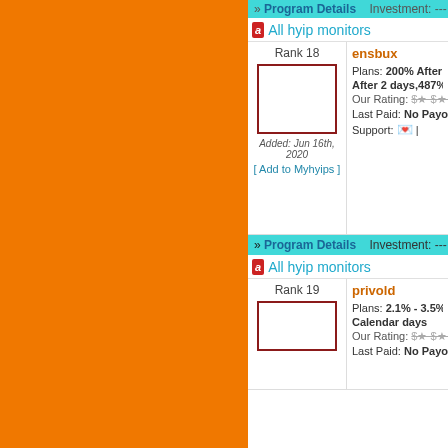>> Program Details    Investment: --- + P
a All hyip monitors
| Left | Right |
| --- | --- |
| Rank 18
[logo]
Added: Jun 16th, 2020
[ Add to Myhyips ] | ensbux
Plans: 200% After 1
After 2 days,487% A
Our Rating: $$$ $$$
Last Paid: No Payout
Support: [icon] | |
>> Program Details    Investment: --- + P
a All hyip monitors
| Left | Right |
| --- | --- |
| Rank 19
[logo]
 | privold
Plans: 2.1% - 3.5% d
Calendar days
Our Rating: $$$ $$$
Last Paid: No Payout |